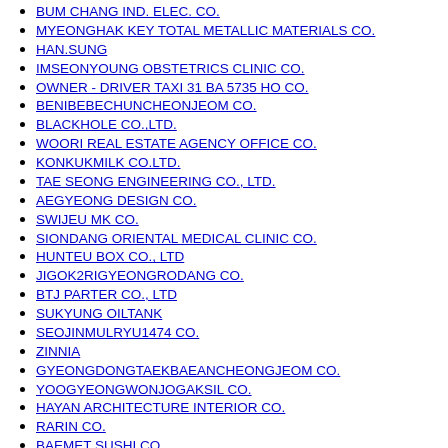BUM CHANG IND. ELEC. CO.
MYEONGHAK KEY TOTAL METALLIC MATERIALS CO.
HAN.SUNG
IMSEONYOUNG OBSTETRICS CLINIC CO.
OWNER - DRIVER TAXI 31 BA 5735 HO CO.
BENIBEBECHUNCHEONJEOM CO.
BLACKHOLE CO.,LTD.
WOORI REAL ESTATE AGENCY OFFICE CO.
KONKUKMILK CO.LTD.
TAE SEONG ENGINEERING CO., LTD.
AEGYEONG DESIGN CO.
SWIJEU MK CO.
SIONDANG ORIENTAL MEDICAL CLINIC CO.
HUNTEU BOX CO., LTD
JIGOK2RIGYEONGRODANG CO.
BTJ PARTER CO., LTD
SUKYUNG OILTANK
SEOJINMULRYU1474 CO.
ZINNIA
GYEONGDONGTAEKBAEANCHEONGJEOM CO.
YOOGYEONGWONJOGAKSIL CO.
HAYAN ARCHITECTURE INTERIOR CO.
RARIN CO.
BAEMET SUSHI CO.